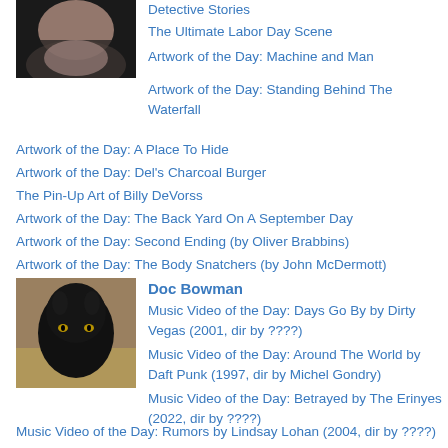[Figure (photo): Close-up photo of a person's neck and lower face against a dark background]
Detective Stories
The Ultimate Labor Day Scene
Artwork of the Day: Machine and Man
Artwork of the Day: Standing Behind The Waterfall
Artwork of the Day: A Place To Hide
Artwork of the Day: Del's Charcoal Burger
The Pin-Up Art of Billy DeVorss
Artwork of the Day: The Back Yard On A September Day
Artwork of the Day: Second Ending (by Oliver Brabbins)
Artwork of the Day: The Body Snatchers (by John McDermott)
[Figure (photo): Photo of a black cat standing outdoors on dry grass]
Doc Bowman
Music Video of the Day: Days Go By by Dirty Vegas (2001, dir by ????)
Music Video of the Day: Around The World by Daft Punk (1997, dir by Michel Gondry)
Music Video of the Day: Betrayed by The Erinyes (2022, dir by ????)
Music Video of the Day: Rumors by Lindsay Lohan (2004, dir by ????)